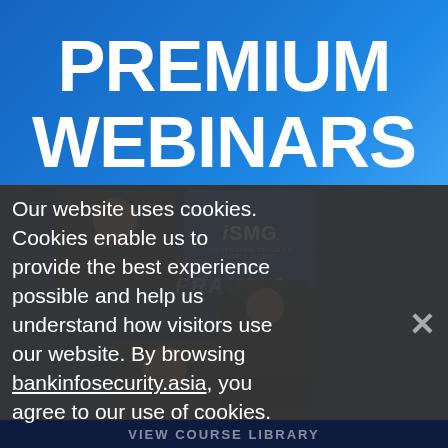PREMIUM WEBINARS
[Figure (photo): Webinar speakers at podium with ISMG (Information Security Media Group) branding and 'FRAUD &' text visible in background]
Our website uses cookies. Cookies enable us to provide the best experience possible and help us understand how visitors use our website. By browsing bankinfosecurity.asia, you agree to our use of cookies.
VIEW COURSE LIBRARY